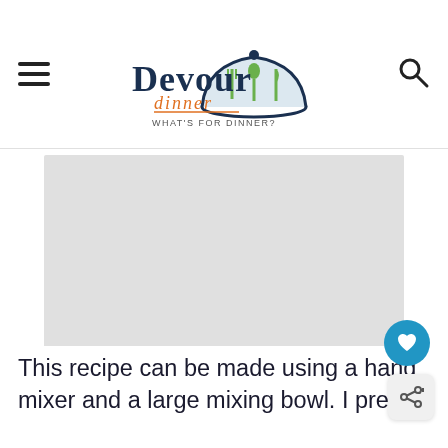Devour Dinner - WHAT'S FOR DINNER?
[Figure (photo): Large rectangular image placeholder (gray) showing food photo on the Devour Dinner recipe blog page]
This recipe can be made using a hand mixer and a large mixing bowl. I prefer